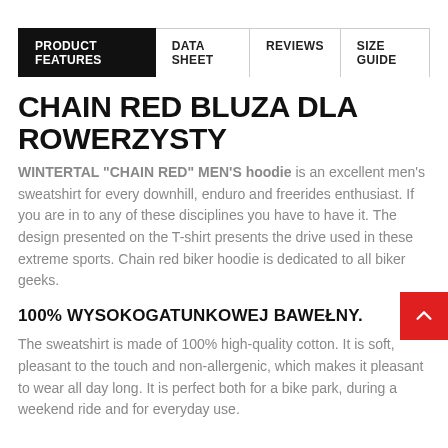PRODUCT FEATURES | DATA SHEET | REVIEWS | SIZE GUIDE
CHAIN RED BLUZA DLA ROWERZYSTY
WINTERTAL "CHAIN RED" MEN'S hoodie is an excellent men's sweatshirt for every downhill, enduro and freerides enthusiast. If you are in to any of these disciplines you have to have it. The design presented on the T-shirt presents the drive used in these extreme sports. Chain red biker hoodie is dedicated to all biker geeks.
100% WYSOKOGATUNKOWEJ BAWEŁNY.
The sweatshirt is made of 100% high-quality cotton. It is soft, pleasant to the touch and non-allergenic, which makes it pleasant to wear all day long. It is perfect both for a bike park, during a weekend ride and for everyday use.